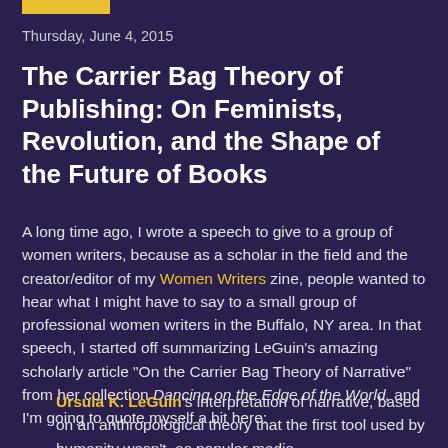Thursday, June 4, 2015
The Carrier Bag Theory of Publishing: On Feminists, Revolution, and the Shape of the Future of Books
A long time ago, I wrote a speech to give to a group of women writers, because as a scholar in the field and the creator/editor of my Women Writers zine, people wanted to hear what I might have to say to a small group of professional women writers in the Buffalo, NY area. In that speech, I started off summarizing LeGuin's amazing scholarly article "On the Carrier Bag Theory of Narrative" from her collection Dancing on the Edge of the World, and I'm going to quote myself a bit here:
Ursula K. LeGuin's interpretation of narrative, based on an anthropological theory that the first tool used by humanity wasn't, as popular media